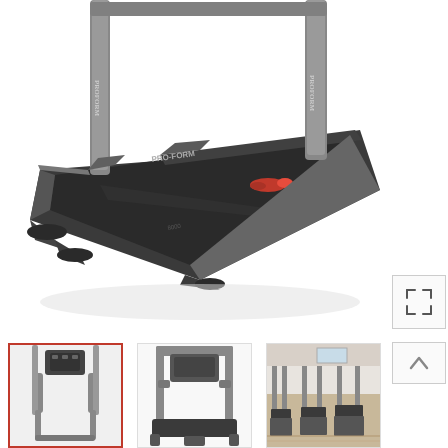[Figure (photo): ProForm treadmill shown from a side/front angle on white background. The treadmill has a dark gray/black running belt with red accent elements near the rear roller. Two silver upright posts are visible at the top. The ProForm logo is visible on the console area.]
[Figure (photo): Small thumbnail image of ProForm treadmill console/handlebar area viewed from front, with red border indicating it is selected.]
[Figure (photo): Small thumbnail image of ProForm treadmill viewed from front, showing the full frame and handlebar structure.]
[Figure (photo): Small thumbnail image showing multiple ProForm treadmills in a room, folded or stacked.]